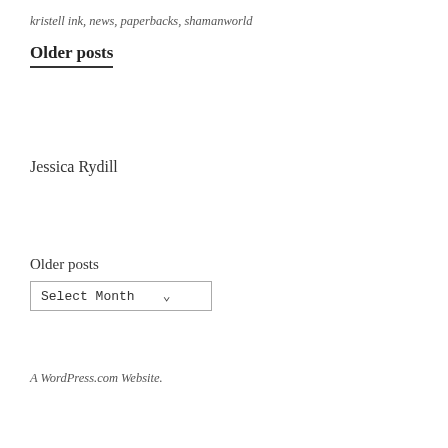kristell ink, news, paperbacks, shamanworld
Older posts
Jessica Rydill
Older posts
Select Month
A WordPress.com Website.